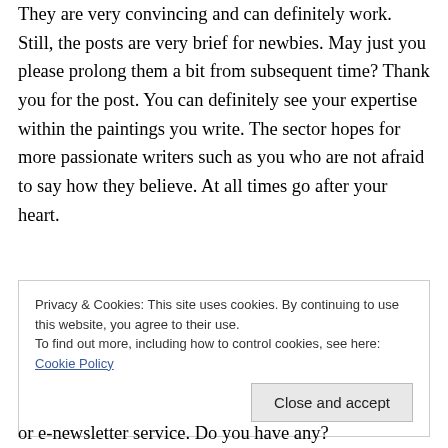They are very convincing and can definitely work. Still, the posts are very brief for newbies. May just you please prolong them a bit from subsequent time? Thank you for the post. You can definitely see your expertise within the paintings you write. The sector hopes for more passionate writers such as you who are not afraid to say how they believe. At all times go after your heart.
Privacy & Cookies: This site uses cookies. By continuing to use this website, you agree to their use.
To find out more, including how to control cookies, see here: Cookie Policy
or e-newsletter service. Do you have any?